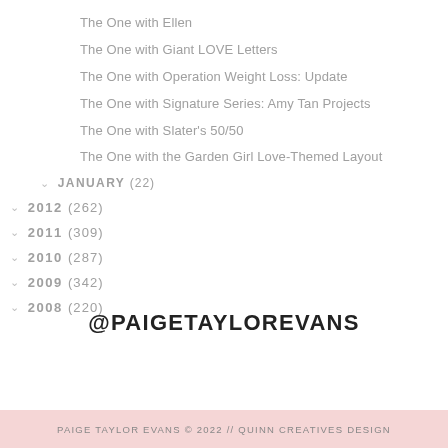The One with Ellen
The One with Giant LOVE Letters
The One with Operation Weight Loss: Update
The One with Signature Series: Amy Tan Projects
The One with Slater's 50/50
The One with the Garden Girl Love-Themed Layout
JANUARY (22)
2012 (262)
2011 (309)
2010 (287)
2009 (342)
2008 (220)
@PAIGETAYLOREVANS
PAIGE TAYLOR EVANS © 2022 // QUINN CREATIVES DESIGN